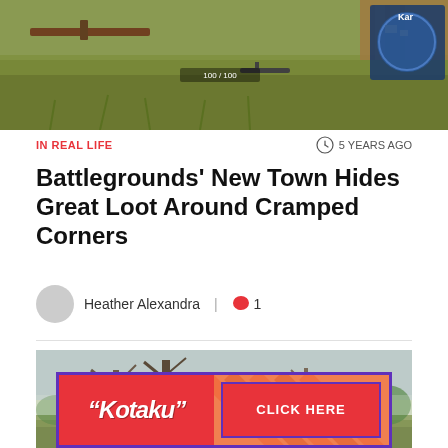[Figure (screenshot): Top-down aerial view screenshot from Battlegrounds / PUBG showing a player character with a rifle in grassy terrain with wooden structures and a minimap in top right corner.]
IN REAL LIFE
5 YEARS AGO
Battlegrounds' New Town Hides Great Loot Around Cramped Corners
Heather Alexandra  |  1
[Figure (screenshot): Third-person view screenshot from Battlegrounds / PUBG showing a player character aiming a shotgun in a swampy forested area with bare trees.]
[Figure (other): Kotaku advertisement banner with pink/red background, Kotaku logo on the left and 'CLICK HERE' button on the right with diagonal stripe pattern.]